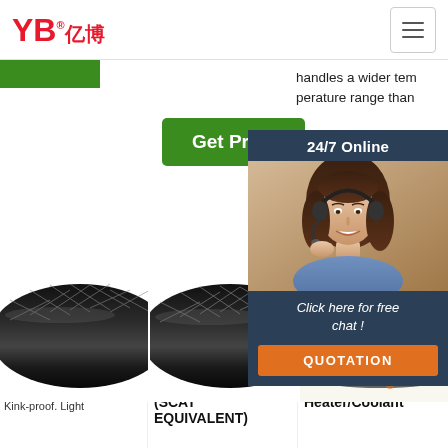[Figure (logo): YB亿博 logo in red with registered trademark symbol]
handles a wider temperature range than
Get Price
[Figure (photo): Customer service agent with headset, 24/7 Online popup with QUOTATION button]
[Figure (photo): Three product hose images: Hightempflex, VENA HT (SCAT EQUIVALENT), SAE J20R3 D2 Heater/Coolant]
Hightempflex
Kink-proof. Light
VENA HT (SCAT EQUIVALENT)
SAE J20R3 D2 Heater/Coolant